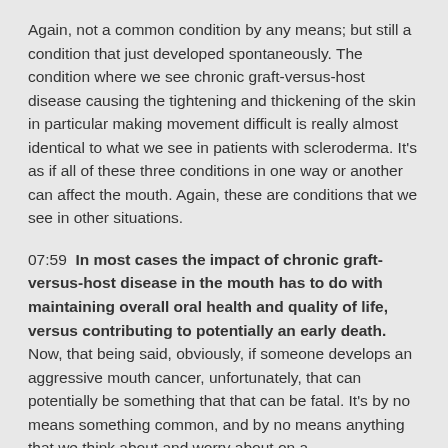Again, not a common condition by any means; but still a condition that just developed spontaneously. The condition where we see chronic graft-versus-host disease causing the tightening and thickening of the skin in particular making movement difficult is really almost identical to what we see in patients with scleroderma. It's as if all of these three conditions in one way or another can affect the mouth. Again, these are conditions that we see in other situations.
07:59  In most cases the impact of chronic graft-versus-host disease in the mouth has to do with maintaining overall oral health and quality of life, versus contributing to potentially an early death. Now, that being said, obviously, if someone develops an aggressive mouth cancer, unfortunately, that can potentially be something that that can be fatal. It's by no means something common, and by no means anything that we think about and worry about on a